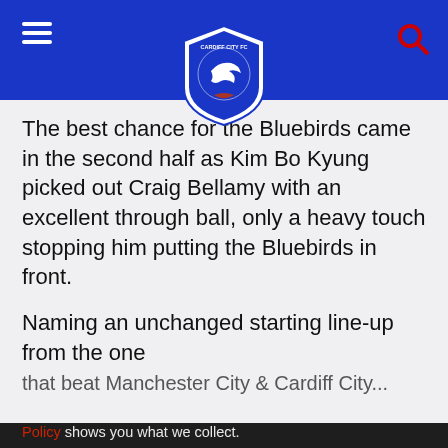Cardiff City FC navigation header with logo, menu, and search
The best chance for the Bluebirds came in the second half as Kim Bo Kyung picked out Craig Bellamy with an excellent through ball, only a heavy touch stopping him putting the Bluebirds in front.
Naming an unchanged starting line-up from the one that beat Manchester City & Cardiff City...
SITE COOKIES
By clicking “Accept all cookies”, you agree to the storing of cookies on your device to enhance site navigation, analyse site usage, and assist in our marketing efforts. Our Cookie Policy shows you what we collect.
You can tailor your site experience by clicking "Set cookie preferences".